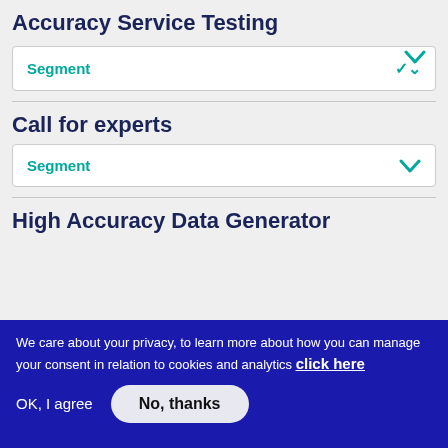Accuracy Service Testing
Segment
Call for experts
Segment
High Accuracy Data Generator
We care about your privacy, to learn more about how you can manage your consent in relation to cookies and analytics click here
OK, I agree
No, thanks